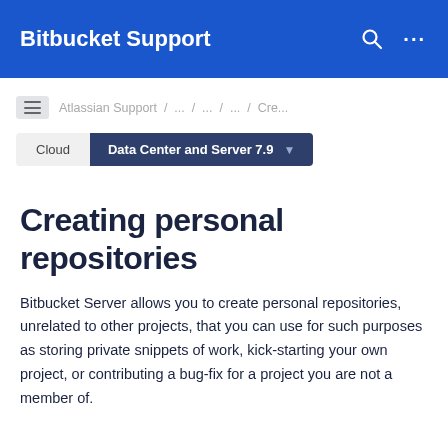Bitbucket Support
Atlassian Support / ... / ... / ... / Cre...
Cloud   Data Center and Server 7.9
Creating personal repositories
Bitbucket Server allows you to create personal repositories, unrelated to other projects, that you can use for such purposes as storing private snippets of work, kick-starting your own project, or contributing a bug-fix for a project you are not a member of.